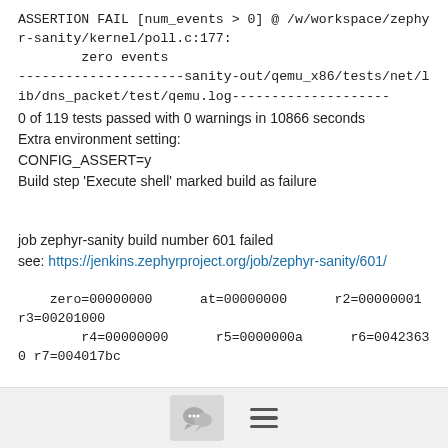ASSERTION FAIL [num_events > 0] @ /w/workspace/zephyr-sanity/kernel/poll.c:177:
        zero events
---------------------sanity-out/qemu_x86/tests/net/lib/dns_packet/test/qemu.log--------------------
0 of 119 tests passed with 0 warnings in 10866 seconds
Extra environment setting:
CONFIG_ASSERT=y
Build step 'Execute shell' marked build as failure
job zephyr-sanity build number 601 failed
see: https://jenkins.zephyrproject.org/job/zephyr-sanity/601/
zero=00000000      at=00000000      r2=00000001 r3=00201000
        r4=00000000      r5=0000000a      r6=00423630 r7=004017bc
[Figure (other): Footer bar with chat bubble icon button and hamburger menu icon]